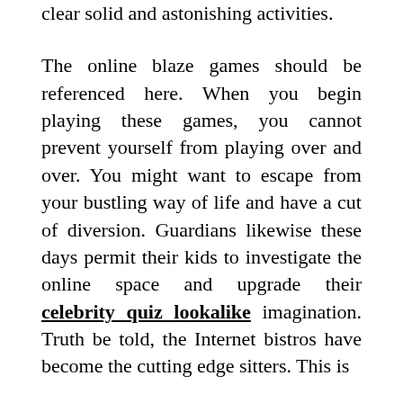clear solid and astonishing activities.
The online blaze games should be referenced here. When you begin playing these games, you cannot prevent yourself from playing over and over. You might want to escape from your bustling way of life and have a cut of diversion. Guardians likewise these days permit their kids to investigate the online space and upgrade their celebrity quiz lookalike imagination. Truth be told, the Internet bistros have become the cutting edge sitters. This is